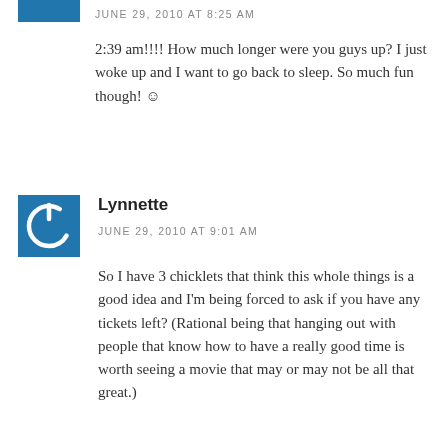JUNE 29, 2010 AT 8:25 AM
2:39 am!!!! How much longer were you guys up? I just woke up and I want to go back to sleep. So much fun though! ☺
Lynnette
JUNE 29, 2010 AT 9:01 AM
So I have 3 chicklets that think this whole things is a good idea and I'm being forced to ask if you have any tickets left? (Rational being that hanging out with people that know how to have a really good time is worth seeing a movie that may or may not be all that great.)